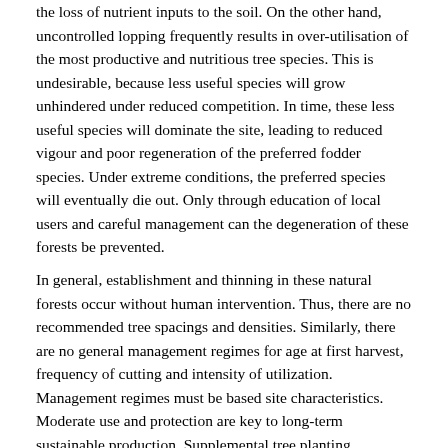the loss of nutrient inputs to the soil. On the other hand, uncontrolled lopping frequently results in over-utilisation of the most productive and nutritious tree species. This is undesirable, because less useful species will grow unhindered under reduced competition. In time, these less useful species will dominate the site, leading to reduced vigour and poor regeneration of the preferred fodder species. Under extreme conditions, the preferred species will eventually die out. Only through education of local users and careful management can the degeneration of these forests be prevented.
In general, establishment and thinning in these natural forests occur without human intervention. Thus, there are no recommended tree spacings and densities. Similarly, there are no general management regimes for age at first harvest, frequency of cutting and intensity of utilization. Management regimes must be based site characteristics. Moderate use and protection are key to long-term sustainable production. Supplemental tree planting, protection of natural regeneration and the removal of undesired species will improve the species mix and fodder.